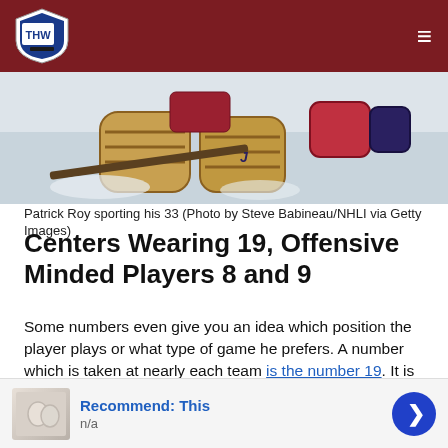THW (The Hockey Writers) — navigation header
[Figure (photo): Patrick Roy in goalie pads and equipment on the ice, viewed from behind/side, wearing jersey number 33]
Patrick Roy sporting his 33 (Photo by Steve Babineau/NHLI via Getty Images)
Centers Wearing 19, Offensive Minded Players 8 and 9
Some numbers even give you an idea which position the player plays or what type of game he prefers. A number which is taken at nearly each team is the number 19. It is often worn by the center, and in many cases even by the number one center or captain of the team. Current examples here for are some of the best centers in today's game like Jonathan Toews and
[Figure (infographic): Advertisement banner: Recommend: This, n/a, with thumbnail image and blue arrow button]